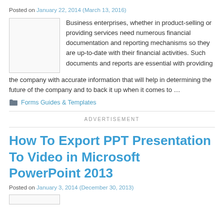Posted on January 22, 2014 (March 13, 2016)
[Figure (photo): Thumbnail image placeholder]
Business enterprises, whether in product-selling or providing services need numerous financial documentation and reporting mechanisms so they are up-to-date with their financial activities. Such documents and reports are essential with providing the company with accurate information that will help in determining the future of the company and to back it up when it comes to …
Forms Guides & Templates
ADVERTISEMENT
How To Export PPT Presentation To Video in Microsoft PowerPoint 2013
Posted on January 3, 2014 (December 30, 2013)